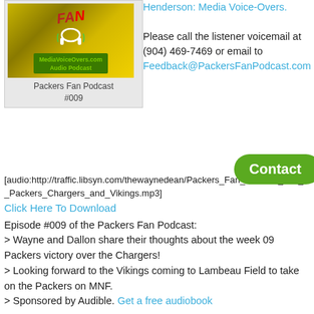[Figure (other): Packers Fan Podcast #009 podcast thumbnail image with MediaVoiceOvers.com Audio Podcast label bar]
Packers Fan Podcast
#009
Henderson: Media Voice-Overs.

Please call the listener voicemail at (904) 469-7469 or email to Feedback@PackersFanPodcast.com
[audio:http://traffic.libsyn.com/thewaynedean/Packers_Fan_Podcast_009__Packers_Chargers_and_Vikings.mp3]
Click Here To Download
Episode #009 of the Packers Fan Podcast:
> Wayne and Dallon share their thoughts about the week 09 Packers victory over the Chargers!
> Looking forward to the Vikings coming to Lambeau Field to take on the Packers on MNF.
> Sponsored by Audible. Get a free audiobook